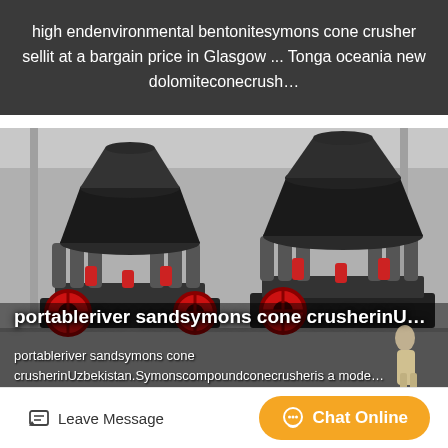high endenvironmental bentonitesymons cone crusher sellit at a bargain price in Glasgow ... Tonga oceania new dolomiteconecrush…
[Figure (photo): Industrial cone crusher machines in a factory/warehouse setting. Two large black cone crushers with red accents and spring mechanisms are visible on the floor of an industrial building.]
portableriver sandsymons cone crusherinU…
portableriver sandsymons cone crusherinUzbekistan.Symonscompoundconecrusheris a mode…